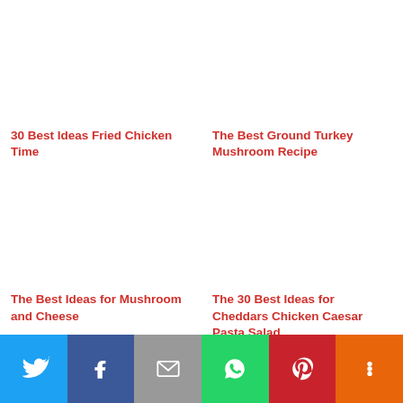30 Best Ideas Fried Chicken Time
The Best Ground Turkey Mushroom Recipe
The Best Ideas for Mushroom and Cheese
The 30 Best Ideas for Cheddars Chicken Caesar Pasta Salad
by shareaholic
[Figure (infographic): Social sharing bar with Twitter, Facebook, Mail, WhatsApp, Pinterest, and More buttons]